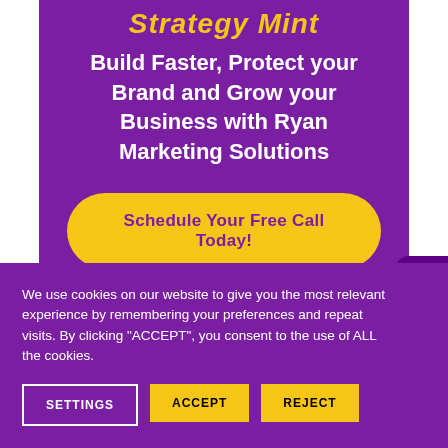Strategy Mint
Build Faster, Protect your Brand and Grow your Business with Ryan Marketing Solutions
Schedule Your Free Call Today!
We use cookies on our website to give you the most relevant experience by remembering your preferences and repeat visits. By clicking "ACCEPT", you consent to the use of ALL the cookies.
SETTINGS
ACCEPT
REJECT